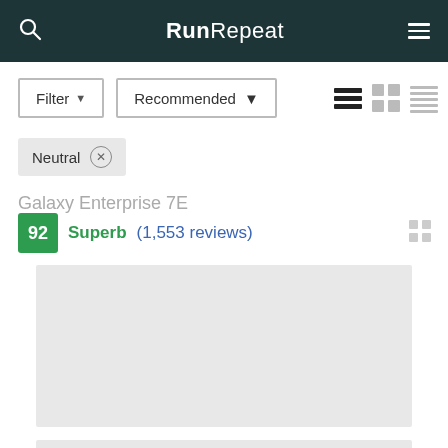RunRepeat
Filter ▾  Recommended ▾
Neutral ×
Galaxy Enterprise 7E (partially visible title)
92 Superb (1,553 reviews)
[Figure (photo): Product image placeholder (grey box)]